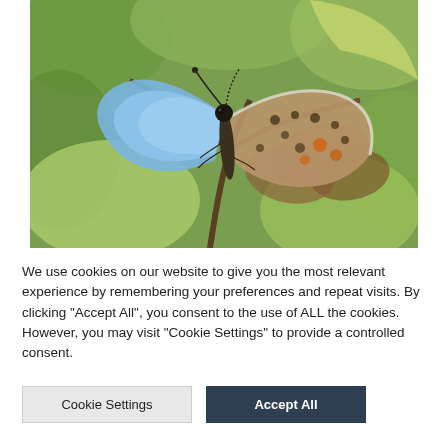[Figure (photo): Close-up photograph of a blue butterfly with spotted brown wings resting on green and brown leaves/plant stems. The butterfly has vivid blue upper wings visible on the left and detailed spotted underwings visible on the right, with a blurred green background.]
We use cookies on our website to give you the most relevant experience by remembering your preferences and repeat visits. By clicking "Accept All", you consent to the use of ALL the cookies. However, you may visit "Cookie Settings" to provide a controlled consent.
Cookie Settings
Accept All